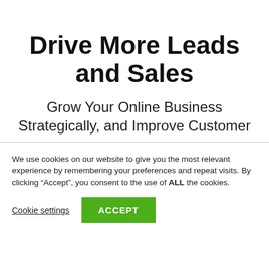Drive More Leads and Sales
Grow Your Online Business Strategically, and Improve Customer
We use cookies on our website to give you the most relevant experience by remembering your preferences and repeat visits. By clicking “Accept”, you consent to the use of ALL the cookies.
Cookie settings   ACCEPT